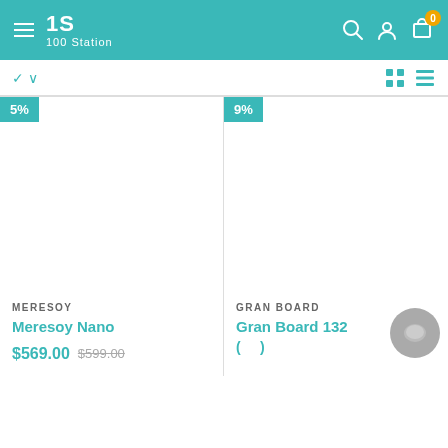[Figure (screenshot): 100 Station e-commerce website header with teal background, hamburger menu, logo '1S 100 Station', search, account, and cart icons with badge showing 0]
[Figure (screenshot): Toolbar row with sort chevron and grid/list view toggle icons]
5%
MERESOY
Meresoy Nano
$569.00 $599.00
9%
GRAN BOARD
Gran Board 132 ( )